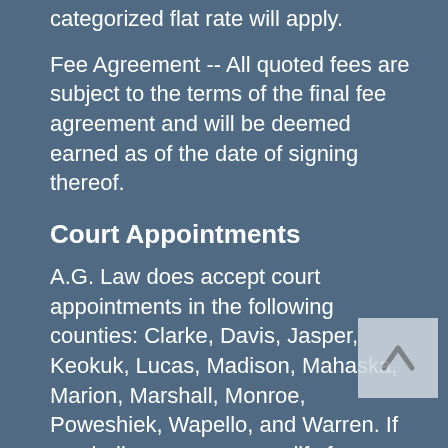categorized flat rate will apply.
Fee Agreement -- All quoted fees are subject to the terms of the final fee agreement and will be deemed earned as of the date of signing thereof.
Court Appointments
A.G. Law does accept court appointments in the following counties: Clarke, Davis, Jasper, Keokuk, Lucas, Madison, Mahaska, Marion, Marshall, Monroe, Poweshiek, Wapello, and Warren. If you believe you may qualify for a court-appointed attorney, please feel free to write the name of one